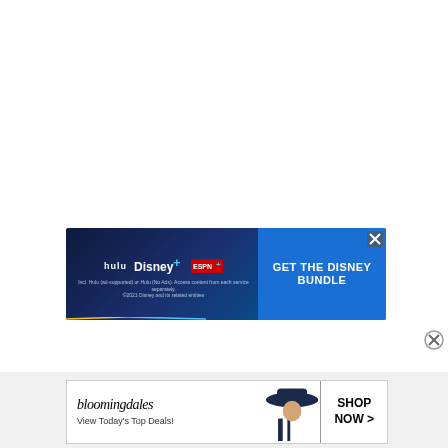[Figure (infographic): Disney Bundle advertisement banner showing Hulu, Disney+, and ESPN+ logos on dark blue gradient background with 'GET THE DISNEY BUNDLE' call to action button. Fine print: 'Incl. Hulu (ad-supported) or Hulu (No Ads). Access content from each service separately. ©2021 Disney and its related entities']
[Figure (infographic): Bloomingdale's advertisement showing logo, model wearing wide-brim hat, and 'SHOP NOW >' button. Text: 'View Today's Top Deals!']